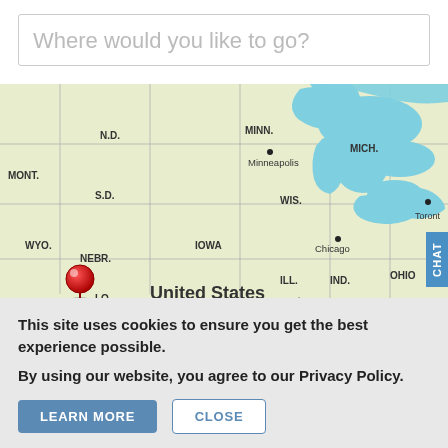Where would you like to go?
[Figure (map): Interactive map of the United States showing state abbreviations including MONT., N.D., MINN., S.D., WYO., NEBR., IOWA, ILL., IND., OHIO, W.VA., MO., KY., OKLA., ARK., TENN., N.C., and cities Minneapolis, Chicago, St. Louis, Toronto with two red map pins placed on Colorado and North Carolina/Tennessee area. Great Lakes shown in blue.]
This site uses cookies to ensure you get the best experience possible.
By using our website, you agree to our Privacy Policy.
LEARN MORE
CLOSE